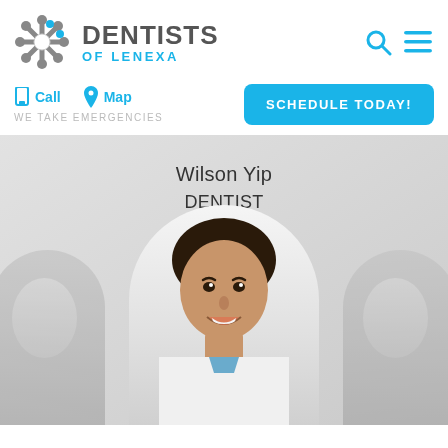[Figure (logo): Dentists of Lenexa logo with snowflake-style icon in gray and blue, followed by DENTISTS in dark gray bold and OF LENEXA in cyan below]
[Figure (other): Search icon (magnifying glass) and hamburger menu icon in cyan]
Call
Map
WE TAKE EMERGENCIES
SCHEDULE TODAY!
Wilson Yip
DENTIST
DDS
[Figure (photo): Center: smiling Asian male dentist in white coat (Wilson Yip DDS). Left and right: partial gray silhouette placeholders for other doctors.]